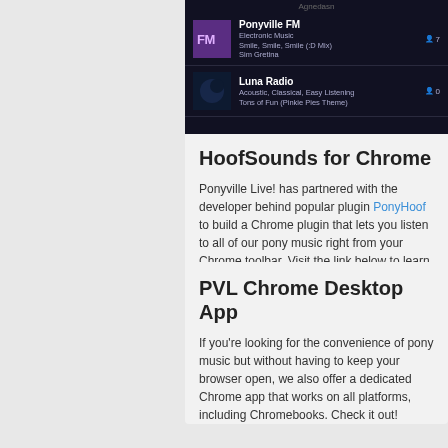[Figure (screenshot): Dark-themed app screenshot showing two radio station rows: Ponyville FM (Electronic Music, Smile Smile Smile :D Mix by Sim Gretina, 7 listeners) and Luna Radio (Acoustic, Classical, Easy Listening, Tons of Fun (Pinkie Pies Theme), 0 listeners)]
HoofSounds for Chrome
Ponyville Live! has partnered with the developer behind popular plugin PonyHoof to build a Chrome plugin that lets you listen to all of our pony music right from your Chrome toolbar. Visit the link below to learn more and install it!
HoofSounds Homepage
PVL Chrome Desktop App
If you're looking for the convenience of pony music but without having to keep your browser open, we also offer a dedicated Chrome app that works on all platforms, including Chromebooks. Check it out!